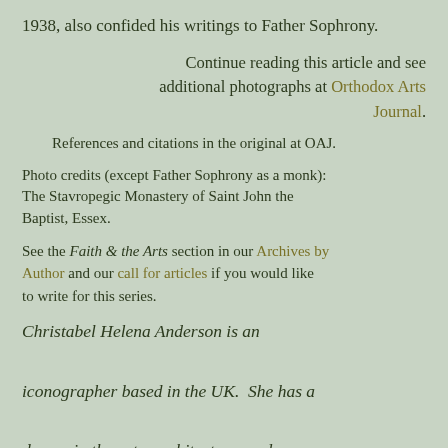1938, also confided his writings to Father Sophrony.
Continue reading this article and see additional photographs at Orthodox Arts Journal.
References and citations in the original at OAJ.
Photo credits (except Father Sophrony as a monk): The Stavropegic Monastery of Saint John the Baptist, Essex.
See the Faith & the Arts section in our Archives by Author and our call for articles if you would like to write for this series.
Christabel Helena Anderson is an iconographer based in the UK.  She has a degree in the arts, architecture, and archaeology of Asia and Africa from the